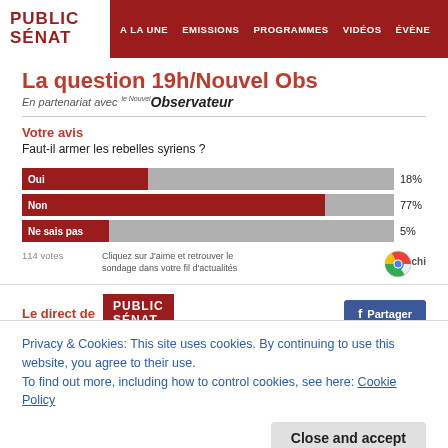PUBLIC SENAT | A LA UNE | EMISSIONS | PROGRAMMES | VIDÉOS | ÉVÈNE...
La question 19h/Nouvel Obs
En partenariat avec Nouvel Observateur
Votre avis
Faut-il armer les rebelles syriens ?
[Figure (bar-chart): Faut-il armer les rebelles syriens?]
114 votes
Cliquez sur J'aime et retrouver le sondage dans votre fil d'actualités
Le direct de PUBLIC SENAT
Privacy & Cookies: This site uses cookies. By continuing to use this website, you agree to their use.
To find out more, including how to control cookies, see here: Cookie Policy
Close and accept
REGARDER EN DIRECT